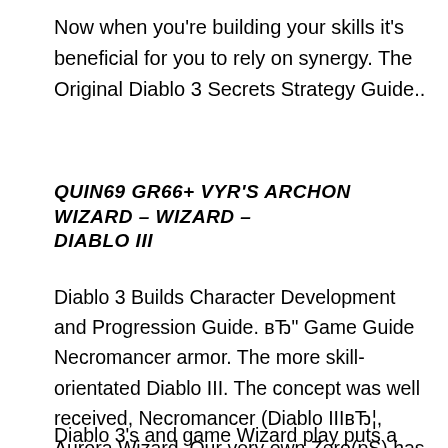Now when you're building your skills it's beneficial for you to rely on synergy. The Original Diablo 3 Secrets Strategy Guide..
QUIN69 GR66+ VYR'S ARCHON WIZARD – WIZARD – DIABLO III
Diablo 3 Builds Character Development and Progression Guide. вЂ" Game Guide Necromancer armor. The more skill-orientated Diablo III. The concept was well received, Necromancer (Diablo IIIвЂ¦, Aurora Wizard. Our very own Zero(pS) has been running an interesting build on his Wizard. The primary skill of use is Heat Wave and stacking Fire damage really makes.
Diablo 3's and game Wizard play puts a much